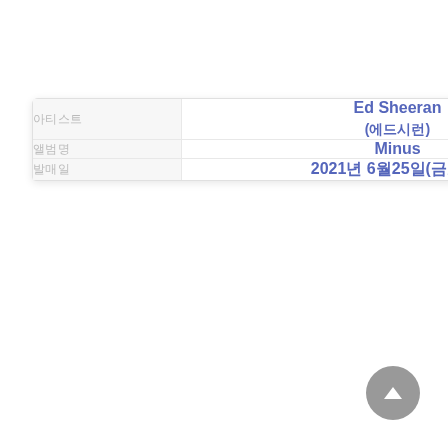| 라벨 | 값 |
| --- | --- |
| 아티스트 | Ed Sheeran (에드시런) |
| 앨범 | Minus |
| 발매일 | 2021년 6월25일(금요일) |